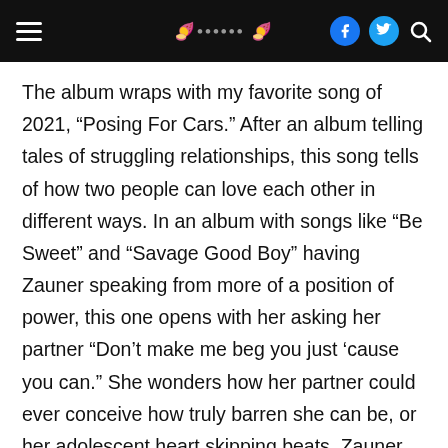Potatohead G
The album wraps with my favorite song of 2021, “Posing For Cars.” After an album telling tales of struggling relationships, this song tells of how two people can love each other in different ways. In an album with songs like “Be Sweet” and “Savage Good Boy” having Zauner speaking from more of a position of power, this one opens with her asking her partner “Don’t make me beg you just ‘cause you can.” She wonders how her partner could ever conceive how truly barren she can be, or her adolescent heart skipping beats. Zauner describes herself as a hollow root pushing through and the empty space inside the room, while describing her partner as someone with love that grows full and firm beneath, without a festered thought, without an emerald want, and with a single slow